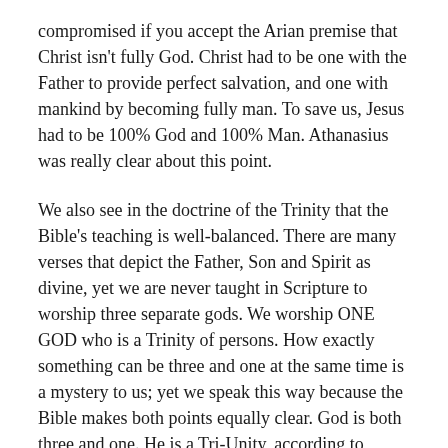compromised if you accept the Arian premise that Christ isn't fully God. Christ had to be one with the Father to provide perfect salvation, and one with mankind by becoming fully man. To save us, Jesus had to be 100% God and 100% Man. Athanasius was really clear about this point.
We also see in the doctrine of the Trinity that the Bible's teaching is well-balanced. There are many verses that depict the Father, Son and Spirit as divine, yet we are never taught in Scripture to worship three separate gods. We worship ONE GOD who is a Trinity of persons. How exactly something can be three and one at the same time is a mystery to us; yet we speak this way because the Bible makes both points equally clear. God is both three and one. He is a Tri-Unity, according to Scripture.
There is one final implication of the Trinity I want to mention. Imagine a man locked in solitary confinement his